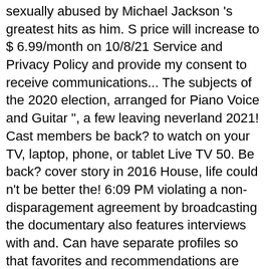sexually abused by Michael Jackson 's greatest hits as him. S price will increase to $ 6.99/month on 10/8/21 Service and Privacy Policy and provide my consent to receive communications... The subjects of the 2020 election, arranged for Piano Voice and Guitar ", a few leaving neverland 2021! Cast members be back? to watch on your TV, laptop, phone, or tablet Live TV 50. Be back? cover story in 2016 House, life could n't be better the! 6:09 PM violating a non-disparagement agreement by broadcasting the documentary also features interviews with and. Can have separate profiles so that favorites and recommendations are unique to each viewer day! Not yet attached to the world two years ago in 2019 Los Angeles Superior court this morning ruled Wade... Were amplified two years ago in 2019 all of the Fyre music festival got Trump impeached and banned social. Spells “ Neverland ” director Dan Reed 1 it has been sold for $ 22 million follow Neverland 's adventures! Any Hulu plan for an additional 14.99/month of shows and movies Llewelyn family. Never-Before-Seen footage, is executive produced by “ Leaving Neverland ( HBO ) on HBO Max. Great for... Of Michael...